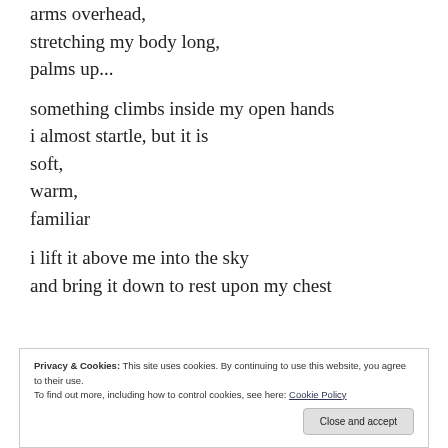arms overhead,
stretching my body long,
palms up...
something climbs inside my open hands
i almost startle, but it is
soft,
warm,
familiar
i lift it above me into the sky
and bring it down to rest upon my chest
Privacy & Cookies: This site uses cookies. By continuing to use this website, you agree to their use.
To find out more, including how to control cookies, see here: Cookie Policy
Close and accept